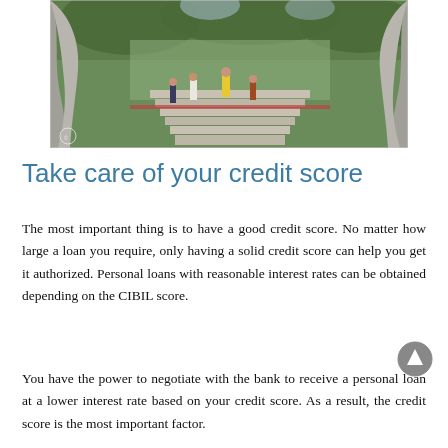[Figure (photo): Outdoor photo of people walking up stone steps through a framed archway or sculpture forming two large hands, with trees and green surroundings in the background.]
Take care of your credit score
The most important thing is to have a good credit score. No matter how large a loan you require, only having a solid credit score can help you get it authorized. Personal loans with reasonable interest rates can be obtained depending on the CIBIL score.
You have the power to negotiate with the bank to receive a personal loan at a lower interest rate based on your credit score. As a result, the credit score is the most important factor.